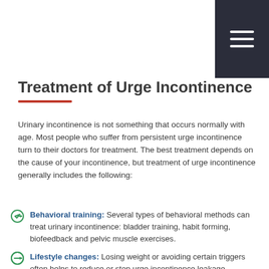Treatment of Urge Incontinence
Urinary incontinence is not something that occurs normally with age. Most people who suffer from persistent urge incontinence turn to their doctors for treatment. The best treatment depends on the cause of your incontinence, but treatment of urge incontinence generally includes the following:
Behavioral training: Several types of behavioral methods can treat urinary incontinence: bladder training, habit forming, biofeedback and pelvic muscle exercises.
Lifestyle changes: Losing weight or avoiding certain triggers often helps to reduce or stop urge incontinence leakage.
Medications: Doctor-prescribed medications are often combined with other treatments to help reduce symptoms. These medicines work by blocking certain nerve impulses to the bladder, which relax the bladder muscle.
Non-surgical procedures: Your healthcare provider may